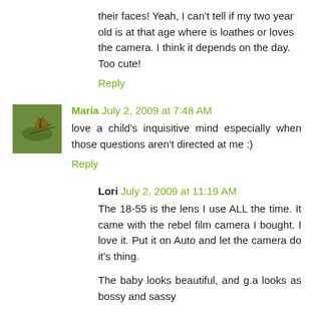their faces! Yeah, I can't tell if my two year old is at that age where is loathes or loves the camera. I think it depends on the day. Too cute!
Reply
Maria July 2, 2009 at 7:48 AM
love a child's inquisitive mind especially when those questions aren't directed at me :)
Reply
Lori July 2, 2009 at 11:19 AM
The 18-55 is the lens I use ALL the time. It came with the rebel film camera I bought. I love it. Put it on Auto and let the camera do it's thing.
The baby looks beautiful, and g.a looks as bossy and sassy